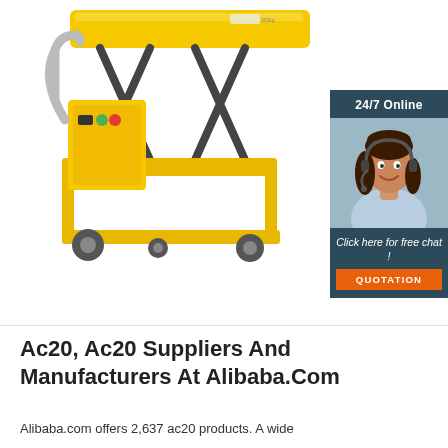[Figure (photo): Yellow electric scissor lift table on wheels with control box and push handle, shown on white background. To the right is a customer service chat widget with '24/7 Online' header, a female customer service representative wearing a headset, 'Click here for free chat!' text, and an orange 'QUOTATION' button.]
Ac20, Ac20 Suppliers And Manufacturers At Alibaba.Com
Alibaba.com offers 2,637 ac20 products. A wide